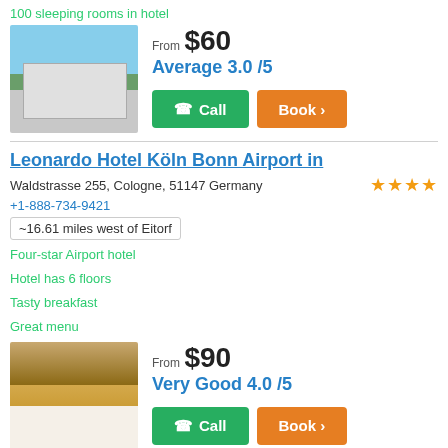100 sleeping rooms in hotel
[Figure (photo): Exterior photo of a white multi-story hotel building with trees in front]
From $60
Average 3.0 /5
Call | Book >
Leonardo Hotel Köln Bonn Airport in
Waldstrasse 255, Cologne, 51147 Germany
+1-888-734-9421
~16.61 miles west of Eitorf
Four-star Airport hotel
Hotel has 6 floors
Tasty breakfast
Great menu
[Figure (photo): Interior hotel room photo showing two beds with white linens and warm lighting]
From $90
Very Good 4.0 /5
Call | Book >